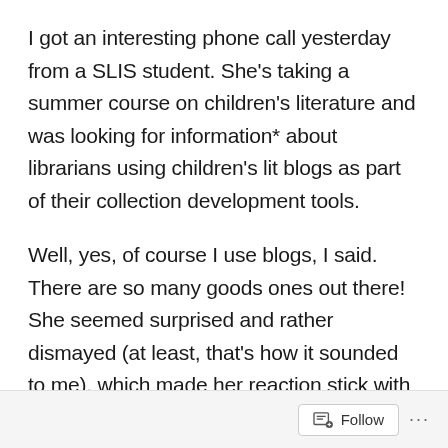I got an interesting phone call yesterday from a SLIS student. She's taking a summer course on children's literature and was looking for information* about librarians using children's lit blogs as part of their collection development tools.
Well, yes, of course I use blogs, I said. There are so many goods ones out there! She seemed surprised and rather dismayed (at least, that's how it sounded to me), which made her reaction stick with me. And since this is my own little soapbox, I get to elaborate here.
As I've addressed in a couple of articles recently, my
Follow